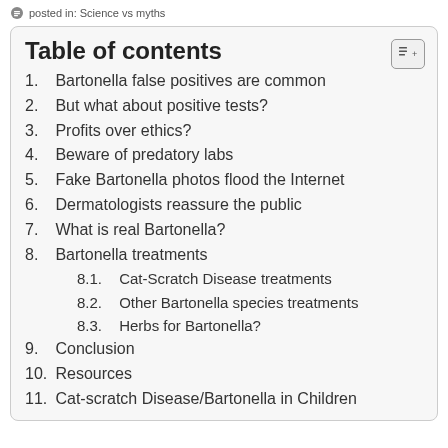posted in: Science vs myths
Table of contents
1. Bartonella false positives are common
2. But what about positive tests?
3. Profits over ethics?
4. Beware of predatory labs
5. Fake Bartonella photos flood the Internet
6. Dermatologists reassure the public
7. What is real Bartonella?
8. Bartonella treatments
8.1. Cat-Scratch Disease treatments
8.2. Other Bartonella species treatments
8.3. Herbs for Bartonella?
9. Conclusion
10. Resources
11. Cat-scratch Disease/Bartonella in Children